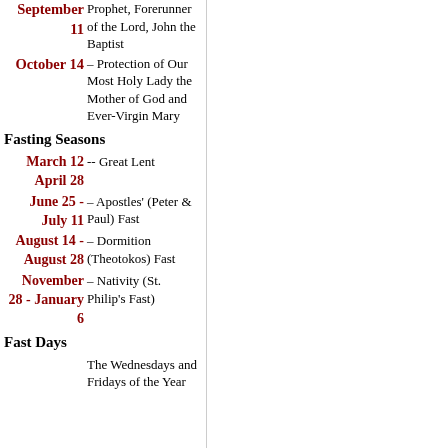September 11 – Prophet, Forerunner of the Lord, John the Baptist
October 14 – Protection of Our Most Holy Lady the Mother of God and Ever-Virgin Mary
Fasting Seasons
March 12 – April 28 -- Great Lent
June 25 - July 11 – Apostles' (Peter & Paul) Fast
August 14 - August 28 – Dormition (Theotokos) Fast
November 28 - January 6 – Nativity (St. Philip's Fast)
Fast Days
The Wednesdays and Fridays of the Year